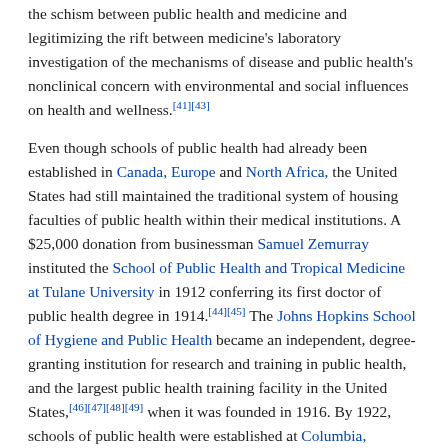the schism between public health and medicine and legitimizing the rift between medicine's laboratory investigation of the mechanisms of disease and public health's nonclinical concern with environmental and social influences on health and wellness.[41][43]
Even though schools of public health had already been established in Canada, Europe and North Africa, the United States had still maintained the traditional system of housing faculties of public health within their medical institutions. A $25,000 donation from businessman Samuel Zemurray instituted the School of Public Health and Tropical Medicine at Tulane University in 1912 conferring its first doctor of public health degree in 1914.[44][45] The Johns Hopkins School of Hygiene and Public Health became an independent, degree-granting institution for research and training in public health, and the largest public health training facility in the United States,[46][47][48][49] when it was founded in 1916. By 1922, schools of public health were established at Columbia, Harvard and Yale on the Hopkins model. By 1999 there were twenty nine schools of public health in the US, enrolling around fifteen thousand students.[37][41]
Over the years, the types of students and training provided have